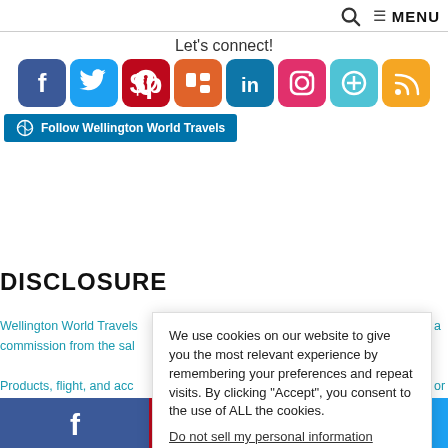Search | MENU
Let's connect!
[Figure (infographic): Row of 8 social media icon buttons: Facebook (blue), Twitter (light blue), Pinterest (red), Mix (orange), LinkedIn (blue), Instagram (pink), Google+ (teal), RSS (orange)]
[Figure (other): WordPress follow button: Follow Wellington World Travels]
DISCLOSURE
Wellington World Travels
commission from the sal
Products, flight, and acc
Whether an item is paid f
your support!
[Figure (other): Cookie consent popup: 'We use cookies on our website to give you the most relevant experience by remembering your preferences and repeat visits. By clicking Accept, you consent to the use of ALL the cookies. Do not sell my personal information. Cookie settings | ACCEPT button']
[Figure (infographic): Bottom social sharing bar with Facebook, Pinterest, and Twitter icons]